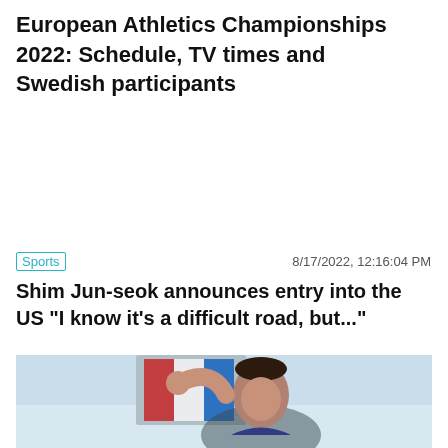European Athletics Championships 2022: Schedule, TV times and Swedish participants
Sports   8/17/2022, 12:16:04 PM
Shim Jun-seok announces entry into the US "I know it's a difficult road, but..."
[Figure (photo): Athlete holding a flag, celebrating, visible from chest up]